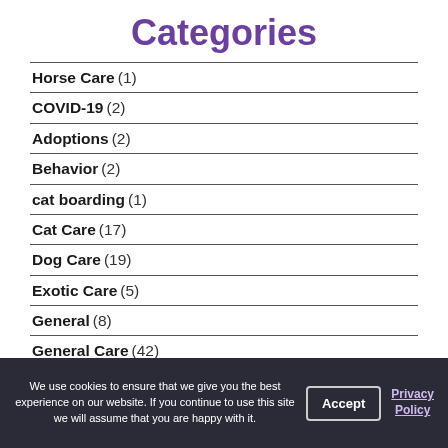Categories
Horse Care (1)
COVID-19 (2)
Adoptions (2)
Behavior (2)
cat boarding (1)
Cat Care (17)
Dog Care (19)
Exotic Care (5)
General (8)
General Care (42)
General Health (32)
Illness & Disease (4)
We use cookies to ensure that we give you the best experience on our website. If you continue to use this site we will assume that you are happy with it.
Accept
Privacy Policy